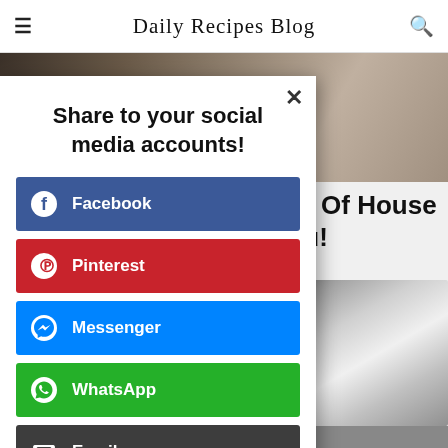Daily Recipes Blog
[Figure (screenshot): Background food/home image behind modal]
Rid Of House You!
[Figure (photo): Photo of a device/appliance on a tray]
Share to your social media accounts!
Facebook
Pinterest
Messenger
WhatsApp
Email
Print